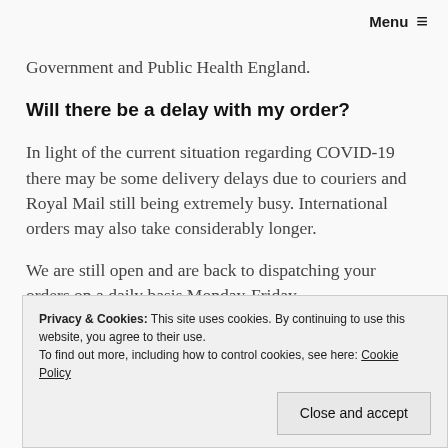Menu ≡
Government and Public Health England.
Will there be a delay with my order?
In light of the current situation regarding COVID-19 there may be some delivery delays due to couriers and Royal Mail still being extremely busy. International orders may also take considerably longer.
We are still open and are back to dispatching your orders on a daily basis Monday-Friday.
Privacy & Cookies: This site uses cookies. By continuing to use this website, you agree to their use.
To find out more, including how to control cookies, see here: Cookie Policy